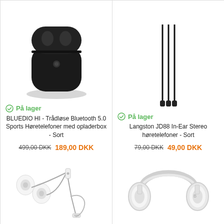[Figure (photo): Black wireless earbuds charging case - BLUEDIO HI product image]
På lager
BLUEDIO HI - Trådløse Bluetooth 5.0 Sports Høretelefoner med opladerbox - Sort
499,00 DKK  189,00 DKK
[Figure (photo): Black in-ear wired earphones - Langston JD88 product image]
På lager
Langston JD88 In-Ear Stereo høretelefoner - Sort
79,00 DKK  49,00 DKK
[Figure (photo): White USB-C wired earphones with microphone]
[Figure (photo): White over-ear headphones]